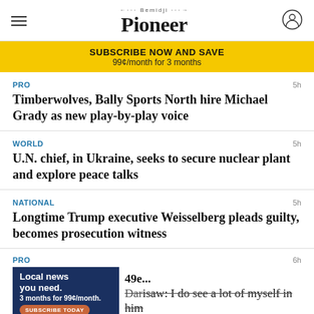Bemidji Pioneer
SUBSCRIBE NOW AND SAVE
99¢/month for 3 months
PRO · 5h · Timberwolves, Bally Sports North hire Michael Grady as new play-by-play voice
WORLD · 5h · U.N. chief, in Ukraine, seeks to secure nuclear plant and explore peace talks
NATIONAL · 5h · Longtime Trump executive Weisselberg pleads guilty, becomes prosecution witness
PRO · 6h · 49e... Dan... I do see a lot of myself in him
[Figure (screenshot): Advertisement banner: Local news you need. 3 months for 99¢/month. SUBSCRIBE TODAY button.]